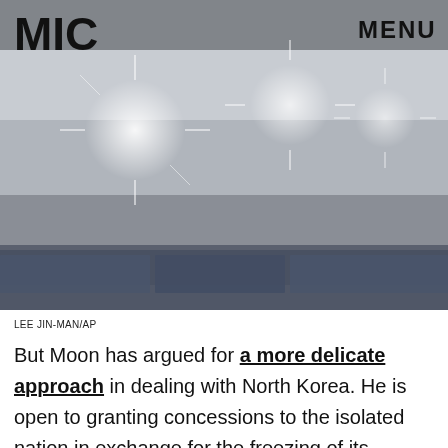[Figure (photo): Crowd scene with bright lights/flares, bottom banner strip with partial text visible, photo credit LEE JIN-MAN/AP]
LEE JIN-MAN/AP
But Moon has argued for a more delicate approach in dealing with North Korea. He is open to granting concessions to the isolated nation in exchange for the freezing of its nuclear program, and will likely aim for more diplomatic solutions in Pyongyang.